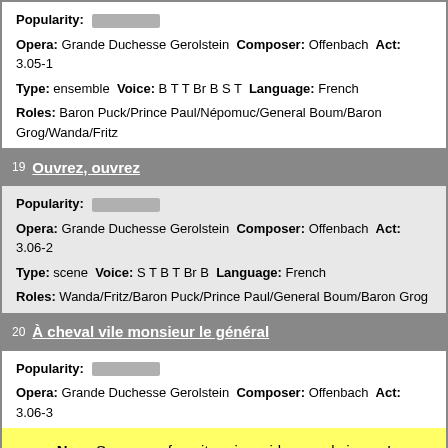Popularity: [bar]
Opera: Grande Duchesse Gerolstein   Composer: Offenbach   Act: 3.05-1
Type: ensemble   Voice: B T T Br B S T   Language: French
Roles: Baron Puck/Prince Paul/Népomuc/General Boum/Baron Grog/Wanda/Fritz
19 Ouvrez, ouvrez
Popularity: [bar]
Opera: Grande Duchesse Gerolstein   Composer: Offenbach   Act: 3.06-2
Type: scene   Voice: S T B T Br B   Language: French
Roles: Wanda/Fritz/Baron Puck/Prince Paul/General Boum/Baron Grog
20 À cheval vile monsieur le général
Popularity: [bar]
Opera: Grande Duchesse Gerolstein   Composer: Offenbach   Act: 3.06-3
New: Save your favorite arias, videos and singers! Tell me more - Check it later - Not interested